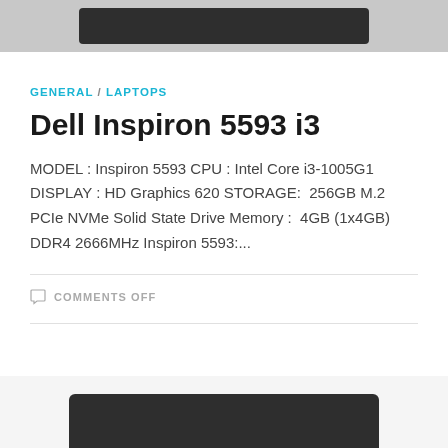[Figure (photo): Top portion of a laptop shown at the top of the page, dark colored device]
GENERAL / LAPTOPS
Dell Inspiron 5593 i3
MODEL : Inspiron 5593 CPU : Intel Core i3-1005G1 DISPLAY : HD Graphics 620 STORAGE:  256GB M.2 PCIe NVMe Solid State Drive Memory :  4GB (1x4GB) DDR4 2666MHz Inspiron 5593:...
COMMENTS OFF
[Figure (photo): Bottom portion of a laptop shown at the bottom of the page, dark colored device]